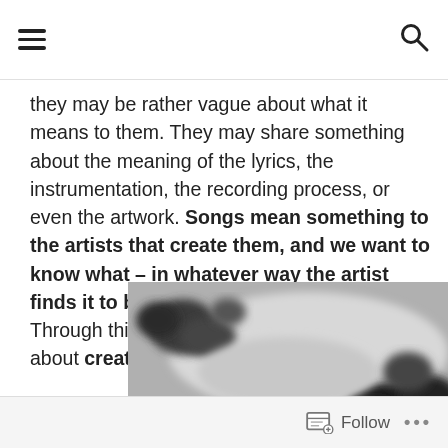[hamburger menu] [search icon]
they may be rather vague about what it means to them. They may share something about the meaning of the lyrics, the instrumentation, the recording process, or even the artwork. Songs mean something to the artists that create them, and we want to know what – in whatever way the artist finds it to be most meaningful to share! Through this process, we'll all learn more about creativity.
[Figure (photo): Black and white blurred close-up photo of piano keys or musical instrument, partially visible, cropped on the left side]
Follow ...